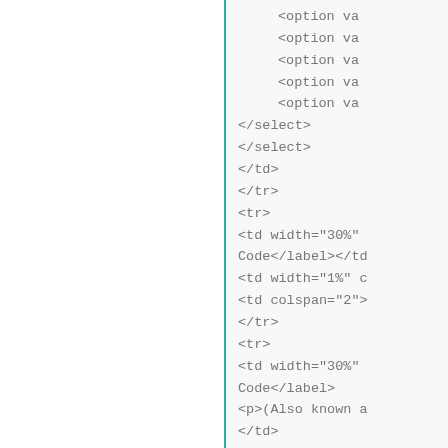<option va
<option va
<option va
<option va
<option va
</select>
</select>
</td>
</tr>
<tr>
<td width="30%"
Code</label></td
<td width="1%" c
<td colspan="2">
</tr>
<tr>
 <td width="30%"
Code</label>
<p>(Also known a
</td>